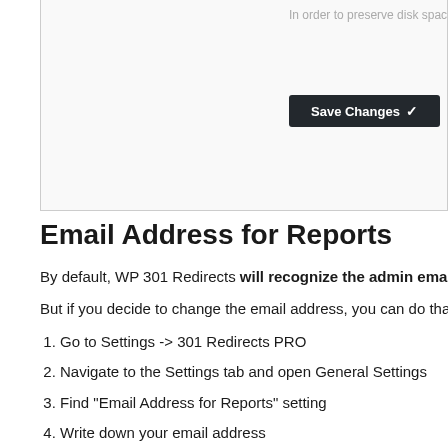In order to preserve disk space, logs are auto
[Figure (screenshot): Save Changes button with checkmark, dark background]
Email Address for Reports
By default, WP 301 Redirects will recognize the admin email addre
But if you decide to change the email address, you can do that quickl
Go to Settings -> 301 Redirects PRO
Navigate to the Settings tab and open General Settings
Find "Email Address for Reports" setting
Write down your email address
Save changes